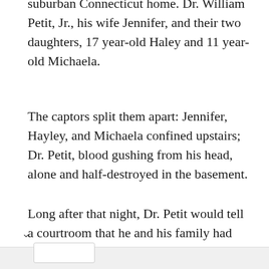suburban Connecticut home. Dr. William Petit, Jr., his wife Jennifer, and their two daughters, 17 year-old Haley and 11 year-old Michaela.
The captors split them apart: Jennifer, Hayley, and Michaela confined upstairs; Dr. Petit, blood gushing from his head, alone and half-destroyed in the basement.
Long after that night, Dr. Petit would tell a courtroom that he and his family had fallen asleep "after a very nice day—church, golf,